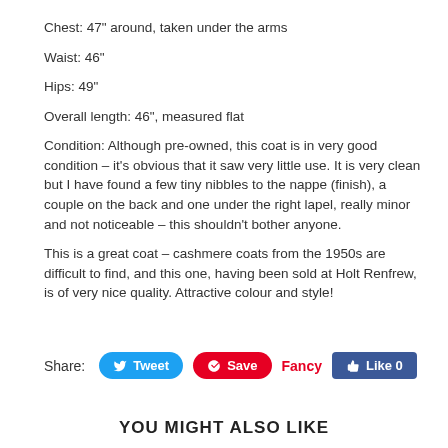Chest: 47" around, taken under the arms
Waist: 46"
Hips: 49"
Overall length: 46", measured flat
Condition: Although pre-owned, this coat is in very good condition – it's obvious that it saw very little use. It is very clean but I have found a few tiny nibbles to the nappe (finish), a couple on the back and one under the right lapel, really minor and not noticeable – this shouldn't bother anyone.
This is a great coat – cashmere coats from the 1950s are difficult to find, and this one, having been sold at Holt Renfrew, is of very nice quality. Attractive colour and style!
Share: Tweet Save Fancy Like 0
YOU MIGHT ALSO LIKE